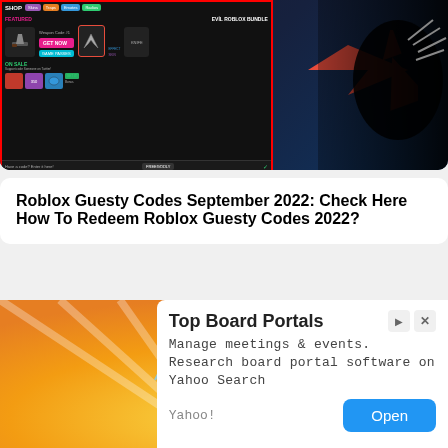[Figure (screenshot): Roblox Guesty game shop screenshot with red arrow pointing to code input field showing FREEGODLY code. Dark background with game UI elements including shop items, knife, GET NOW button, GAME PASSES button.]
Roblox Guesty Codes September 2022: Check Here How To Redeem Roblox Guesty Codes 2022?
[Figure (illustration): Anime character (Izuku Midoriya from My Hero Academia) on yellow/orange gradient background]
Top Board Portals
Manage meetings & events. Research board portal software on Yahoo Search
Yahoo!
Open